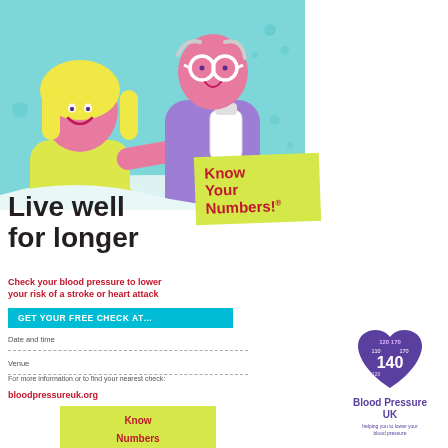[Figure (illustration): Illustrated scene on teal/mint background showing a healthcare worker (female, blonde hair, wearing white coat) taking blood pressure of an elderly patient (bald, pink-skinned, wearing glasses and purple top, holding a white bottle). A blood pressure gauge is visible between them. Background has teal color with decorative dots and wave shapes.]
Live well for longer
[Figure (infographic): Yellow-green sticky note style box with red bold text reading 'Know Your Numbers!']
Check your blood pressure to lower your risk of a stroke or heart attack
GET YOUR FREE CHECK AT…
Date and time
Venue
For more information or to find your nearest check: bloodpressureuk.org
[Figure (logo): Blood Pressure UK logo: a heart shape in blue/purple with blood pressure numbers 110/170, 120/140 displayed inside, and the text 'Blood Pressure UK' below in purple, with tagline 'helping you to lower your blood pressure']
Know Your Numbers